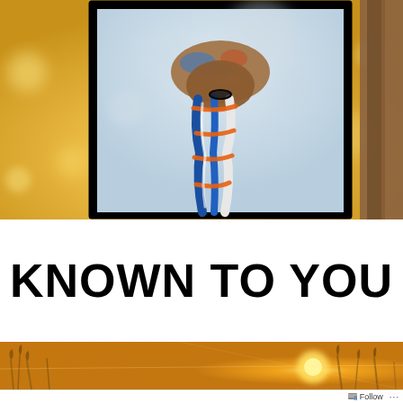[Figure (photo): A hand holding a blue, white, and orange braided rope or paracord against a warm golden bokeh background with a brown tree trunk visible on the right edge. The framed photograph is bordered in black and sits against the golden outdoor background.]
KNOWN TO YOU
[Figure (photo): A golden warm bokeh strip showing grassy field at sunset/sunrise with a bright orb of light in the background.]
Follow ...